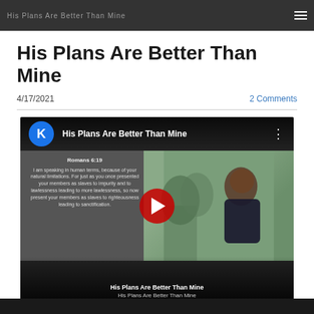His Plans Are Better Than Mine — navigation header
His Plans Are Better Than Mine
4/17/2021     2 Comments
[Figure (screenshot): Embedded YouTube video titled 'His Plans Are Better Than Mine' with a channel avatar showing letter K, three-dot menu, thumbnail showing a woman and a Bible verse overlay (Romans 6:19), red play button, dated April 18, 2021. Copyright line: © 2021 | Kimberly G. Massey | Kimberly Griffith Anderson, Author]